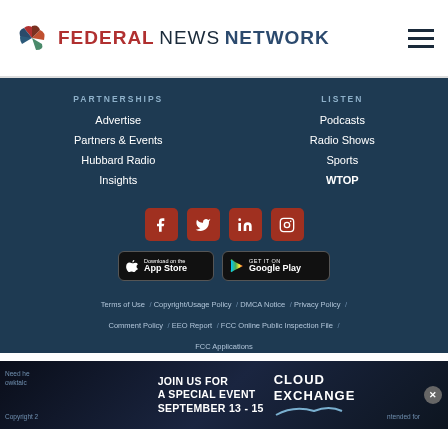FEDERAL NEWS NETWORK
PARTNERSHIPS
Advertise
Partners & Events
Hubbard Radio
Insights
LISTEN
Podcasts
Radio Shows
Sports
WTOP
[Figure (infographic): Social media icons: Facebook, Twitter, LinkedIn, Instagram — red rounded square buttons]
[Figure (infographic): App store badges: Download on the App Store and GET IT ON Google Play]
Terms of Use / Copyright/Usage Policy / DMCA Notice / Privacy Policy / Comment Policy / EEO Report / FCC Online Public Inspection File / FCC Applications
[Figure (infographic): Advertisement banner: JOIN US FOR A SPECIAL EVENT SEPTEMBER 13 - 15 | CLOUD EXCHANGE]
Need help ... owktalc...
Copyright 2 ... ntended for